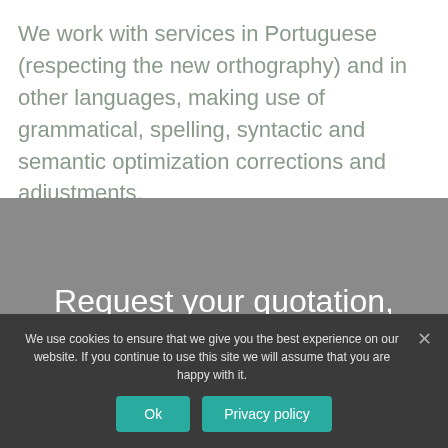We work with services in Portuguese (respecting the new orthography) and in other languages, making use of grammatical, spelling, syntactic and semantic optimization corrections and adjustments.
Request your quotation, we will be happy to assist
We use cookies to ensure that we give you the best experience on our website. If you continue to use this site we will assume that you are happy with it.